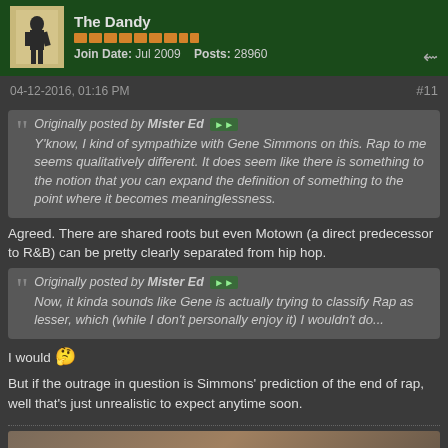The Dandy | Join Date: Jul 2009 | Posts: 28960
04-12-2016, 01:16 PM  #11
Originally posted by Mister Ed
Y'know, I kind of sympathize with Gene Simmons on this. Rap to me seems qualitatively different. It does seem like there is something to the notion that you can expand the definition of something to the point where it becomes meaninglessness.
Agreed. There are shared roots but even Motown (a direct predecessor to R&B) can be pretty clearly separated from hip hop.
Originally posted by Mister Ed
Now, it kinda sounds like Gene is actually trying to classify Rap as lesser, which (while I don't personally enjoy it) I wouldn't do...
I would 😉
But if the outrage in question is Simmons' prediction of the end of rap, well that's just unrealistic to expect anytime soon.